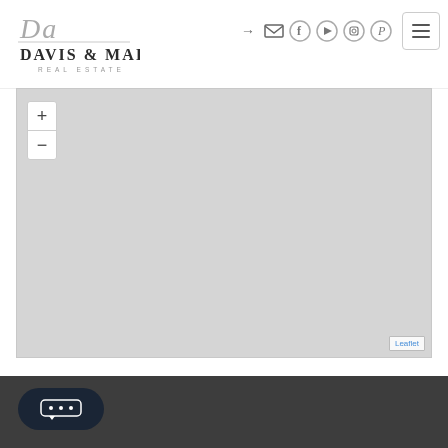[Figure (logo): Davis & Main Real Estate logo with cursive 'Da' monogram and serif company name]
[Figure (screenshot): Navigation icons: login arrow, envelope, Facebook, YouTube, Instagram, Pinterest circles, and hamburger menu button]
[Figure (map): Gray Leaflet map placeholder with zoom in/out controls and Leaflet attribution label]
[Figure (other): Dark footer bar with chat bubble button showing three dots]